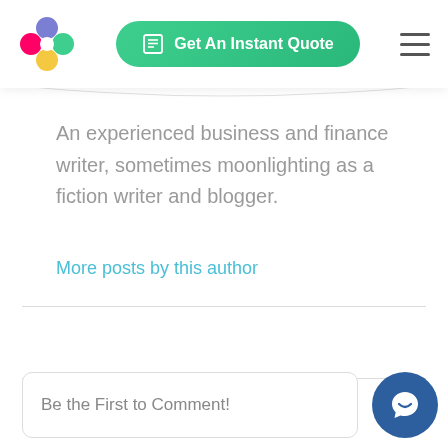[Figure (logo): Colorful flower/cross-shaped logo with four circles in red, blue, teal, and yellow]
[Figure (other): Green pill-shaped button with calculator icon and text 'Get An Instant Quote']
[Figure (other): Hamburger menu icon (three horizontal lines)]
An experienced business and finance writer, sometimes moonlighting as a fiction writer and blogger.
More posts by this author
Be the First to Comment!